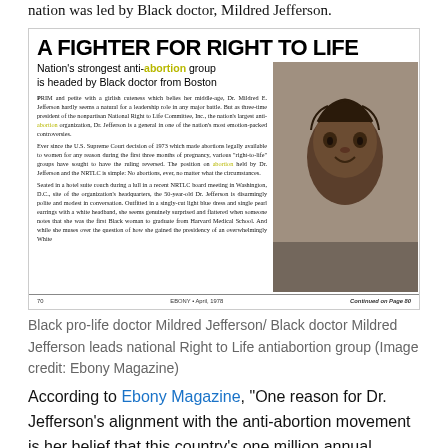nation was led by Black doctor, Mildred Jefferson.
[Figure (photo): Scanned magazine page from Ebony, April 1978. Headline reads 'A FIGHTER FOR RIGHT TO LIFE'. Subtitle: 'Nation's strongest anti-abortion group is headed by Black doctor from Boston'. Article text describes Dr. Mildred E. Jefferson, three-time president of the National Right to Life Committee. Photo shows Dr. Jefferson smiling, a Black woman. Footer shows page 70 and 'Continued on Page 80'.]
Black pro-life doctor Mildred Jefferson/ Black doctor Mildred Jefferson leads national Right to Life antiabortion group (Image credit: Ebony Magazine)
According to Ebony Magazine, “One reason for Dr. Jefferson’s alignment with the anti-abortion movement is her belief that this country’s one million annual abortions